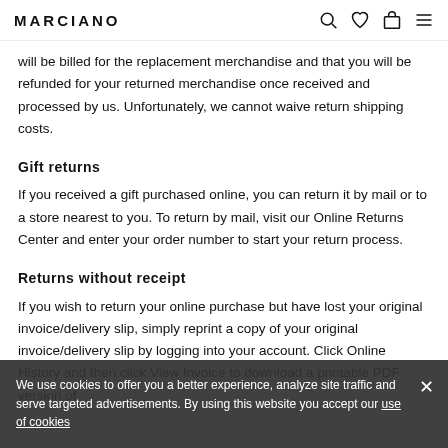MARCIANO
will be billed for the replacement merchandise and that you will be refunded for your returned merchandise once received and processed by us. Unfortunately, we cannot waive return shipping costs.
Gift returns
If you received a gift purchased online, you can return it by mail or to a store nearest to you. To return by mail, visit our Online Returns Center and enter your order number to start your return process.
Returns without receipt
If you wish to return your online purchase but have lost your original invoice/delivery slip, simply reprint a copy of your original invoice/delivery slip by logging into your account. Click Online History and then click View Invoice to download a printable PDF version of
We use cookies to offer you a better experience, analyze site traffic and serve targeted advertisements. By using this website you accept our use of cookies